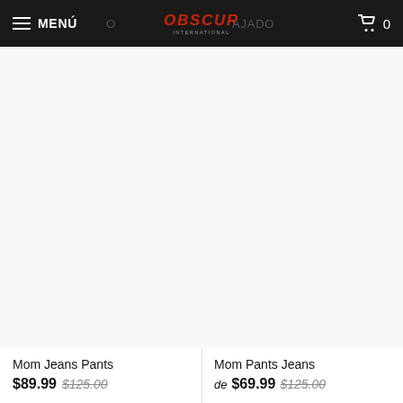MENÚ | OBSCUR INTERNATIONAL | BAJADO | 0
[Figure (photo): Product image area for Mom Jeans Pants — white/blank product image placeholder]
Mom Jeans Pants
$89.99  $125.00
[Figure (photo): Product image area for Mom Pants Jeans — white/blank product image placeholder]
Mom Pants Jeans
de $69.99  $125.00